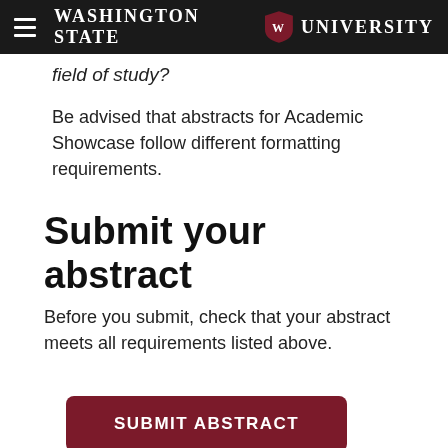Washington State University
field of study?
Be advised that abstracts for Academic Showcase follow different formatting requirements.
Submit your abstract
Before you submit, check that your abstract meets all requirements listed above.
SUBMIT ABSTRACT